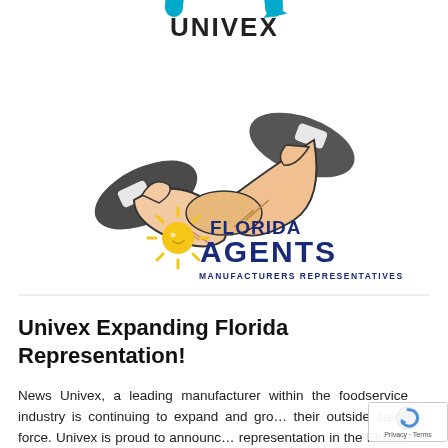[Figure (illustration): A handshake illustration in comic/clipart style showing two suited figures shaking hands, above the Florida Agents Manufacturers Representatives logo (blue and gold/yellow sun icon with text 'FLORIDA AGENTS MANUFACTURERS REPRESENTATIVES'). At the very top, partially visible, is the Univex logo.]
Univex Expanding Florida Representation!
News Univex, a leading manufacturer within the foodservice industry is continuing to expand and grow their outside sales force. Univex is proud to announce representation in the Florida Market with Florida Age... With over 30 years of industry experience, Marketin...